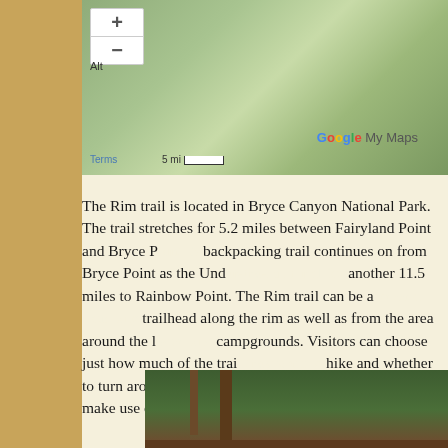[Figure (map): Google My Maps showing terrain map of Bryce Canyon National Park area with zoom controls (+/-), scale bar (5 mi), and Google My Maps logo]
The Rim trail is located in Bryce Canyon National Park. The trail stretches for 5.2 miles between Fairyland Point and Bryce Point. A backpacking trail continues on from Bryce Point as the Under-the-Rim trail for another 11.5 miles to Rainbow Point. The Rim trail can be accessed from any trailhead along the rim as well as from the area around the lodge and campgrounds. Visitors can choose just how much of the trail they want to hike and whether to turn around and hike back the same way, or whether to make use of the free shuttle bus service.
[Figure (photo): Photo of Rim Trail at Inspiration Point in Bryce Canyon National Park, showing pine trees, reddish dirt ground, and a brown wooden sign reading RIM TRAIL INSPIRATION POINT]